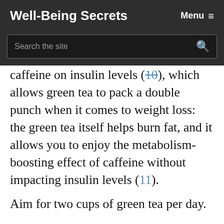Well-Being Secrets  Menu ≡
Search the site
caffeine on insulin levels (10), which allows green tea to pack a double punch when it comes to weight loss: the green tea itself helps burn fat, and it allows you to enjoy the metabolism-boosting effect of caffeine without impacting insulin levels (11).
Aim for two cups of green tea per day.
Ideally, drink them in the morning when there is no risk of the caffeine disturbing your sleep